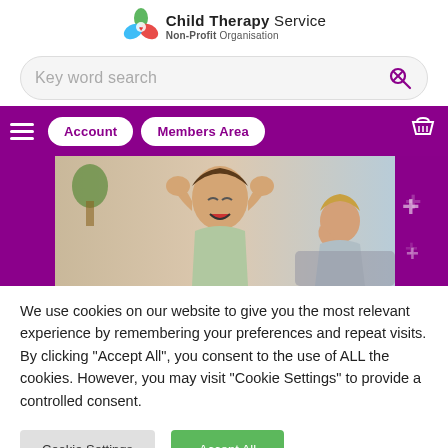[Figure (logo): Child Therapy Service logo with colourful petals icon and text 'Child Therapy Service, Non-Profit Organisation']
[Figure (screenshot): Search bar with placeholder text 'Key word search' and a search icon on the right]
[Figure (screenshot): Purple navigation bar with hamburger menu, Account and Members Area buttons, and shopping basket icon]
[Figure (photo): Hero image of a child screaming with hands on head, and an adult woman looking concerned in the background, on purple background]
We use cookies on our website to give you the most relevant experience by remembering your preferences and repeat visits. By clicking "Accept All", you consent to the use of ALL the cookies. However, you may visit "Cookie Settings" to provide a controlled consent.
[Figure (screenshot): Two buttons: 'Cookie Settings' (grey) and 'Accept All' (green)]